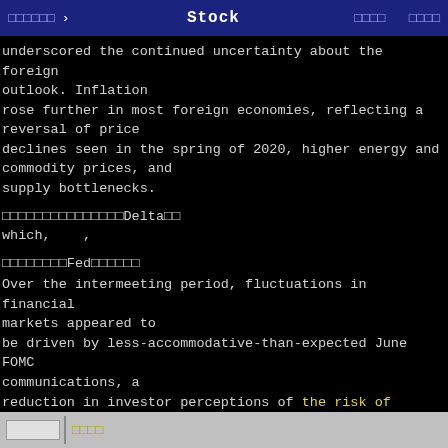□□□□□□ › Stock □□□□ □□□□
underscored the continued uncertainty about the foreign outlook. Inflation rose further in most foreign economies, reflecting a reversal of price declines seen in the spring of 2020, higher energy and commodity prices, and supply bottlenecks.
□□□□□□□□□□□□□□□Delta□□ which,   ,
□□□□□□□□Fed□□□□□□
Over the intermeeting period, fluctuations in financial markets appeared to be driven by less-accommodative-than-expected June FOMC communications, a reduction in investor perceptions of the risk of persistently high inflation, increased concerns about the rapid spread of the Delta variant, and stronger-than-anticipated inflation data. Longer-dated Treasury yields fell, largely reflecting declines in real yields, while
□□□□